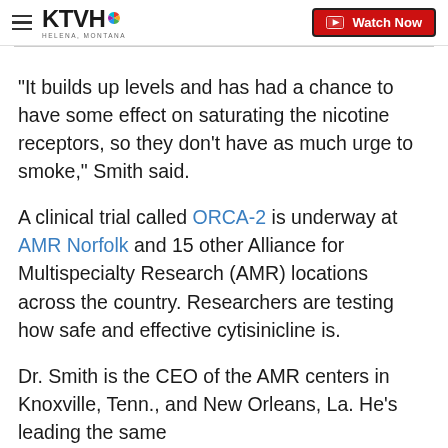KTVH — Watch Now
“It builds up levels and has had a chance to have some effect on saturating the nicotine receptors, so they don’t have as much urge to smoke,” Smith said.
A clinical trial called ORCA-2 is underway at AMR Norfolk and 15 other Alliance for Multispecialty Research (AMR) locations across the country. Researchers are testing how safe and effective cytisinicline is.
Dr. Smith is the CEO of the AMR centers in Knoxville, Tenn., and New Orleans, La. He’s leading the same